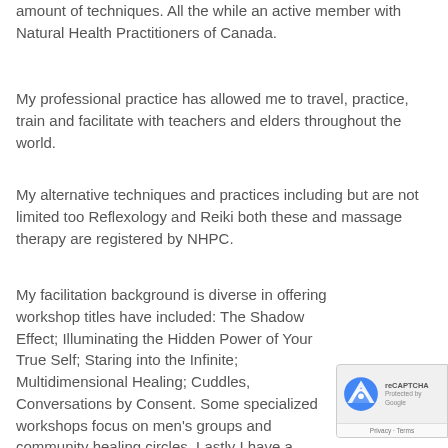amount of techniques. All the while an active member with Natural Health Practitioners of Canada.
My professional practice has allowed me to travel, practice, train and facilitate with teachers and elders throughout the world.
My alternative techniques and practices including but are not limited too Reflexology and Reiki both these and massage therapy are registered by NHPC.
My facilitation background is diverse in offering workshop titles have included: The Shadow Effect; Illuminating the Hidden Power of Your True Self; Staring into the Infinite; Multidimensional Healing; Cuddles, Conversations by Consent. Some specialized workshops focus on men's groups and community healing circles. Lastly I have a lifetime applying personally and professionally Louise Hay inspired practices facilitating and am privileged to be licensed and insured House to offer counselling, coaching, mentorship and retreats